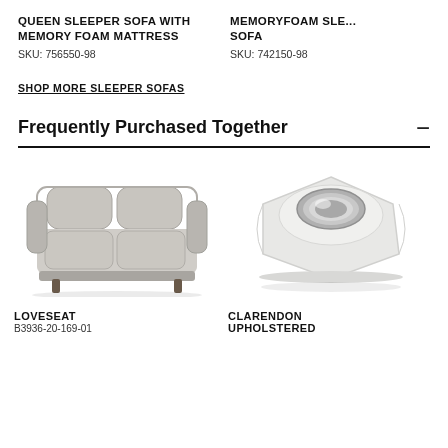QUEEN SLEEPER SOFA WITH MEMORY FOAM MATTRESS
SKU: 756550-98
MEMORYFOAM SLE... SOFA
SKU: 742150-98
SHOP MORE SLEEPER SOFAS
Frequently Purchased Together
[Figure (photo): Gray fabric loveseat with rolled arms and two cushions]
[Figure (photo): White upholstered hexagonal ottoman/table with silver bowl insert]
LOVESEAT
B3936-20-169-01
CLARENDON UPHOLSTERED